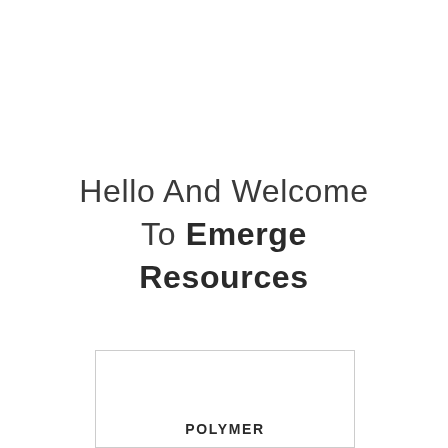Hello And Welcome To Emerge Resources
POLYMER